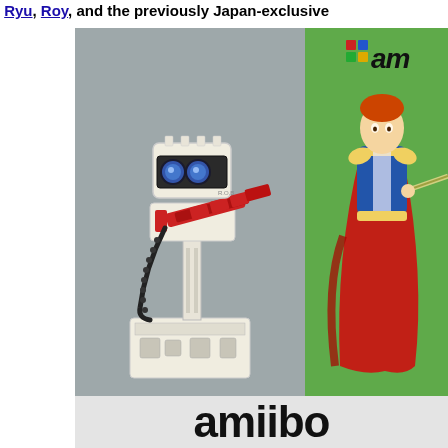Ryu, Roy, and the previously Japan-exclusive
[Figure (photo): Two amiibo figures side by side. Left half shows a gray background with a R.O.B. (Robotic Operating Buddy) amiibo figure holding a red arm/cannon. Right half shows a green background with an amiibo logo in the upper right and a Roy (Fire Emblem) character figure in blue and red robes holding a sword.]
amiibo